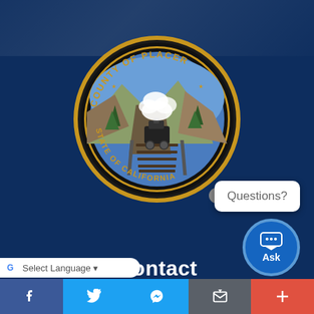[Figure (logo): County of Placer, State of California official seal — circular gold and black border with a train on tracks in a mountain canyon scene in the center]
[Figure (other): White speech bubble popup saying 'Questions?' with a close (x) button, and a blue circular 'Ask' chat button below it]
Contact
Directory of County Offices
[Figure (other): Google Translate language selector bar at bottom left reading 'Select Language']
Facebook | Twitter | Messenger | Mail | More (+)